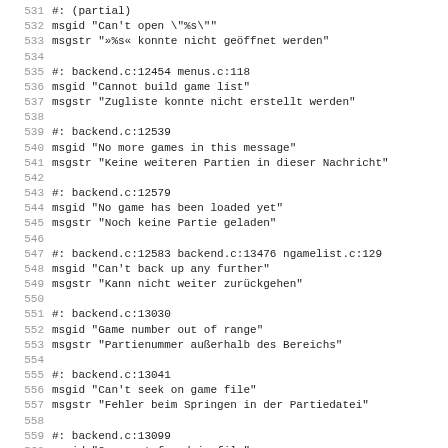531 #: (partial)
532 msgid "Can't open \"%s\""
533 msgstr "»%s« konnte nicht geöffnet werden"
534 
535 #: backend.c:12454 menus.c:118
536 msgid "Cannot build game list"
537 msgstr "Zugliste konnte nicht erstellt werden"
538 
539 #: backend.c:12539
540 msgid "No more games in this message"
541 msgstr "Keine weiteren Partien in dieser Nachricht"
542 
543 #: backend.c:12579
544 msgid "No game has been loaded yet"
545 msgstr "Noch keine Partie geladen"
546 
547 #: backend.c:12583 backend.c:13476 ngamelist.c:129
548 msgid "Can't back up any further"
549 msgstr "Kann nicht weiter zurückgehen"
550 
551 #: backend.c:13030
552 msgid "Game number out of range"
553 msgstr "Partienummer außerhalb des Bereichs"
554 
555 #: backend.c:13041
556 msgid "Can't seek on game file"
557 msgstr "Fehler beim Springen in der Partiedatei"
558 
559 #: backend.c:13099
560 msgid "Game not found in file"
561 msgstr "Spiel in Datei nicht gefunden"
562 
563 #: backend.c:13230 backend.c:13573